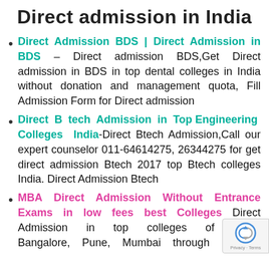Direct admission in India
Direct Admission BDS | Direct Admission in BDS – Direct admission BDS,Get Direct admission in BDS in top dental colleges in India without donation and management quota, Fill Admission Form for Direct admission
Direct B tech Admission in Top Engineering Colleges India-Direct Btech Admission,Call our expert counselor 011-64614275, 26344275 for get direct admission Btech 2017 top Btech colleges India. Direct Admission Btech
MBA Direct Admission Without Entrance Exams in low fees best Colleges Direct Admission in top colleges of Delhi, Bangalore, Pune, Mumbai through